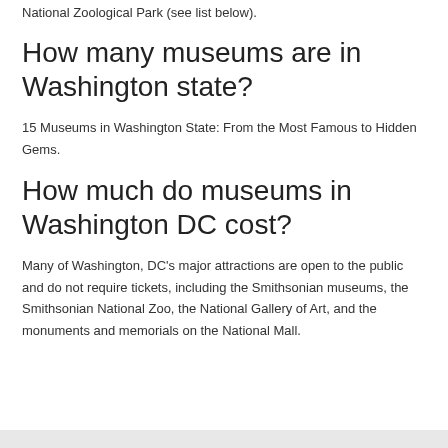National Zoological Park (see list below).
How many museums are in Washington state?
15 Museums in Washington State: From the Most Famous to Hidden Gems.
How much do museums in Washington DC cost?
Many of Washington, DC’s major attractions are open to the public and do not require tickets, including the Smithsonian museums, the Smithsonian National Zoo, the National Gallery of Art, and the monuments and memorials on the National Mall.